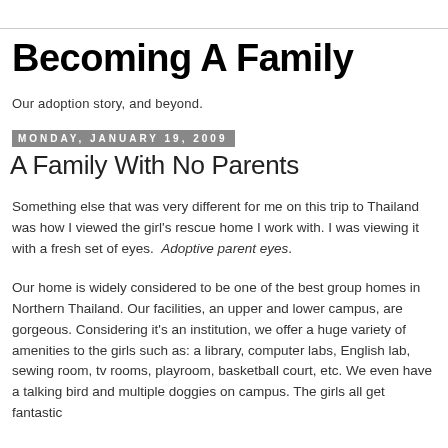Becoming A Family
Our adoption story, and beyond.
Monday, January 19, 2009
A Family With No Parents
Something else that was very different for me on this trip to Thailand was how I viewed the girl's rescue home I work with. I was viewing it with a fresh set of eyes.  Adoptive parent eyes.
Our home is widely considered to be one of the best group homes in Northern Thailand. Our facilities, an upper and lower campus, are gorgeous. Considering it's an institution, we offer a huge variety of amenities to the girls such as: a library, computer labs, English lab, sewing room, tv rooms, playroom, basketball court, etc. We even have a talking bird and multiple doggies on campus. The girls all get fantastic